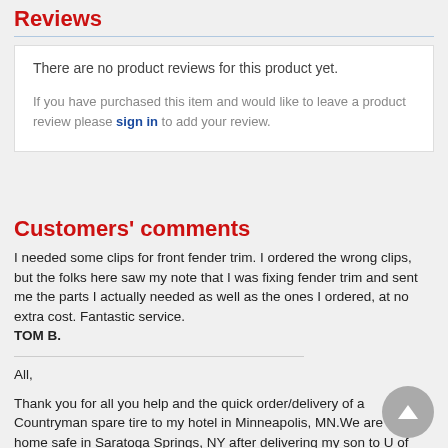Reviews
There are no product reviews for this product yet.
If you have purchased this item and would like to leave a product review please sign in to add your review.
Customers' comments
I needed some clips for front fender trim. I ordered the wrong clips, but the folks here saw my note that I was fixing fender trim and sent me the parts I actually needed as well as the ones I ordered, at no extra cost. Fantastic service.
TOM B.
All,
Thank you for all you help and the quick order/delivery of a Countryman spare tire to my hotel in Minneapolis, MN.We are back home safe in Saratoga Springs, NY after delivering my son to U of Minnesota.We have 2